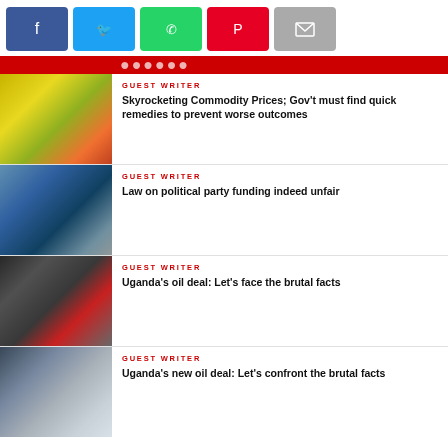[Figure (other): Social media share buttons: Facebook (blue), Twitter (light blue), WhatsApp (green), Pinterest (red), Email (gray)]
[Figure (photo): Commodity goods/food items on shelves]
GUEST WRITER
Skyrocketing Commodity Prices; Gov't must find quick remedies to prevent worse outcomes
[Figure (photo): Political figures shaking hands]
GUEST WRITER
Law on political party funding indeed unfair
[Figure (photo): People in masks holding documents at press event]
GUEST WRITER
Uganda's oil deal: Let's face the brutal facts
[Figure (photo): Officials standing in front of a building]
GUEST WRITER
Uganda's new oil deal: Let's confront the brutal facts